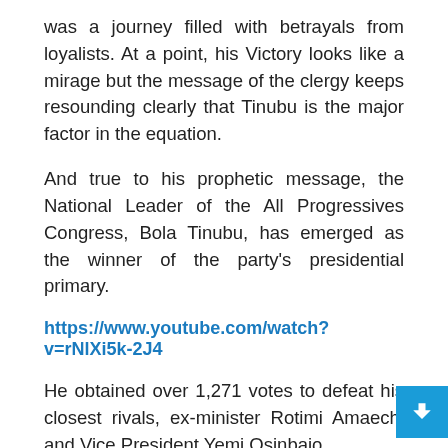was a journey filled with betrayals from loyalists. At a point, his Victory looks like a mirage but the message of the clergy keeps resounding clearly that Tinubu is the major factor in the equation.
And true to his prophetic message, the National Leader of the All Progressives Congress, Bola Tinubu, has emerged as the winner of the party's presidential primary.
https://www.youtube.com/watch?v=rNlXi5k-2J4
He obtained over 1,271 votes to defeat his closest rivals, ex-minister Rotimi Amaechi and Vice President Yemi Osinbajo.
While Amaechi polled 316 votes, Osinbajo scored 235 votes.
He contested against thirteen other aspirants –